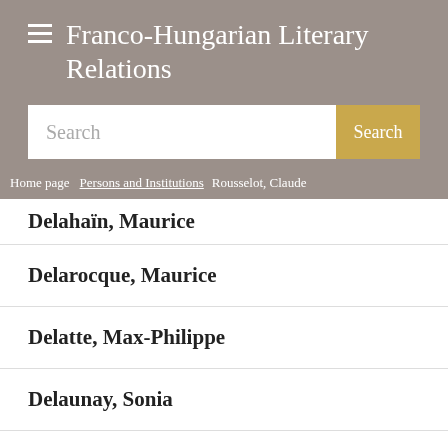Franco-Hungarian Literary Relations
Search
Home page / Persons and Institutions / Rousselot, Claude
Delahaïn, Maurice
Delarocque, Maurice
Delatte, Max-Philippe
Delaunay, Sonia
Delay, Jean